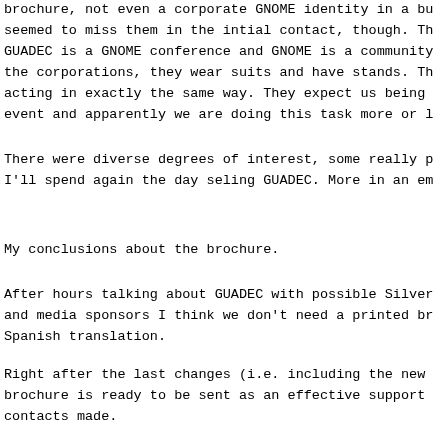brochure, not even a corporate GNOME identity in a bu seemed to miss them in the intial contact, though. The GUADEC is a GNOME conference and GNOME is a community the corporations, they wear suits and have stands. The acting in exactly the same way. They expect us being s event and apparently we are doing this task more or le
There were diverse degrees of interest, some really p I'll spend again the day seling GUADEC. More in an ema
My conclusions about the brochure.
After hours talking about GUADEC with possible Silver and media sponsors I think we don't need a printed bro Spanish translation.
Right after the last changes (i.e. including the new l brochure is ready to be sent as an effective support o contacts made.